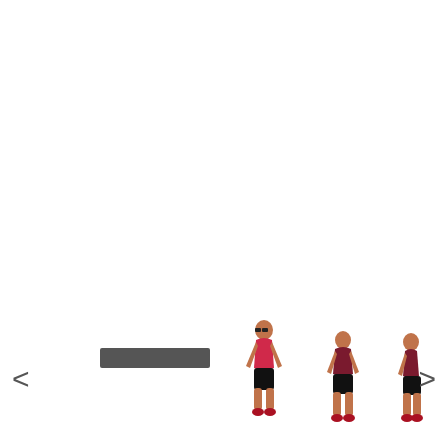[Figure (screenshot): E-commerce product image gallery carousel showing three thumbnail photos of a woman wearing black shorts and a pink/red sports bra top, in front, back, and side poses. A dark horizontal bar placeholder appears to the left of the thumbnails. Left and right navigation arrows flank the gallery.]